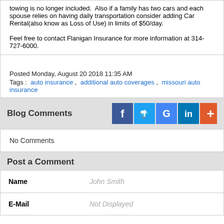towing is no longer included.  Also if a family has two cars and each spouse relies on having daily transportation consider adding Car Rental(also know as Loss of Use) in limits of $50/day.
Feel free to contact Flanigan Insurance for more information at 314-727-6000.
Posted Monday, August 20 2018 11:35 AM
Tags :  auto insurance ,  additional auto coverages ,  missouri auto insurance
Blog Comments
No Comments
Post a Comment
Name   John Smith
E-Mail   Not Displayed